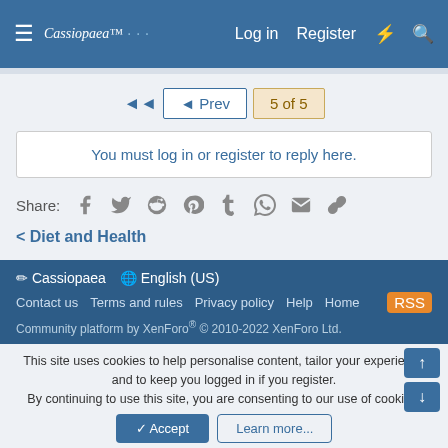Cassiopaea — Log in  Register
◄◄  ◄ Prev  5 of 5
You must log in or register to reply here.
Share:  (icons: facebook, twitter, reddit, pinterest, tumblr, whatsapp, email, link)
< Diet and Health
Cassiopaea   English (US)
Contact us  Terms and rules  Privacy policy  Help  Home  [RSS]
Community platform by XenForo® © 2010-2022 XenForo Ltd.
This site uses cookies to help personalise content, tailor your experience and to keep you logged in if you register.
By continuing to use this site, you are consenting to our use of cookies.
✓ Accept   Learn more...